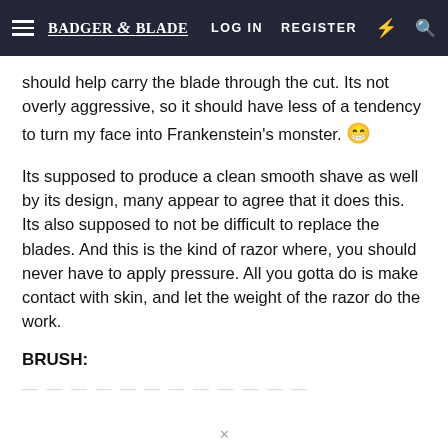Badger & Blade | LOG IN | REGISTER
should help carry the blade through the cut. Its not overly aggressive, so it should have less of a tendency to turn my face into Frankenstein's monster. 😁
Its supposed to produce a clean smooth shave as well by its design, many appear to agree that it does this. Its also supposed to not be difficult to replace the blades. And this is the kind of razor where, you should never have to apply pressure. All you gotta do is make contact with skin, and let the weight of the razor do the work.
BRUSH:
...